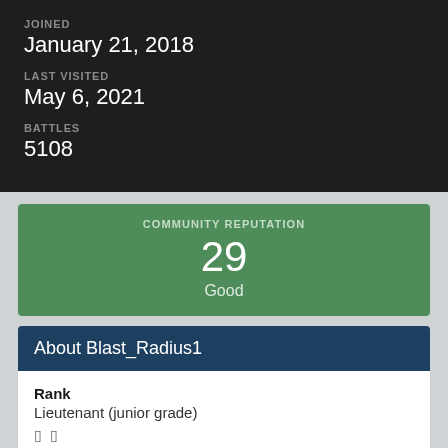JOINED
January 21, 2018
LAST VISITED
May 6, 2021
BATTLES
5108
COMMUNITY REPUTATION
29
Good
About Blast_Radius1
Rank
Lieutenant (junior grade)
We use cookies so that we can offer you the best possible website content and experience. Privacy Policy